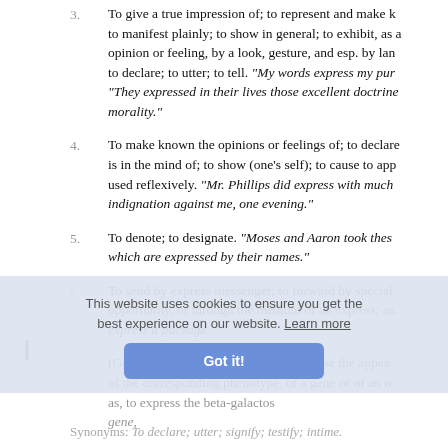3. To give a true impression of; to represent and make known; to manifest plainly; to show in general; to exhibit, as an opinion or feeling, by a look, gesture, and esp. by language; to declare; to utter; to tell. "My words express my purpose." "They expressed in their lives those excellent doctrines of morality."
4. To make known the opinions or feelings of; to declare what is in the mind of; to show (one's self); to cause to appear; used reflexively. "Mr. Phillips did express with much indignation against me, one evening."
5. To denote; to designate. "Moses and Aaron took these men which are expressed by their names."
6. To send by express messenger; to forward by special opportunity, or through the medium of an express; as, to express a package.
7. (Genetics) To produce products that cause the appearance of the corresponding phenotype, of a gene or of an organism; as, to express the beta-galactosidase gene,
Synonyms: To declare; utter; signify; testify; intimate.